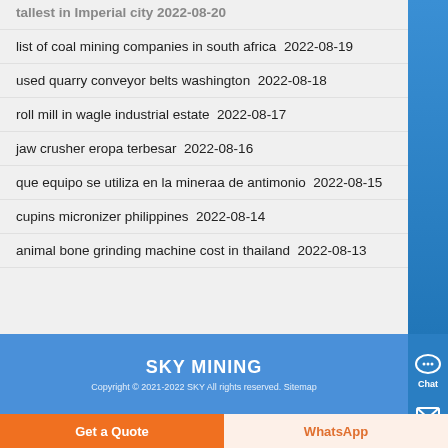list of coal mining companies in south africa  2022-08-19
used quarry conveyor belts washington  2022-08-18
roll mill in wagle industrial estate  2022-08-17
jaw crusher eropa terbesar  2022-08-16
que equipo se utiliza en la mineraa de antimonio  2022-08-15
cupins micronizer philippines  2022-08-14
animal bone grinding machine cost in thailand  2022-08-13
SKY MINING
Copyright © 2021-2022 SKY All rights reserved. Sitemap